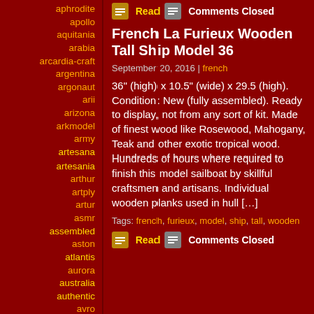aphrodite
apollo
aquitania
arabia
arcardia-craft
argentina
argonaut
arii
arizona
arkmodel
army
artesana
artesania
arthur
artply
artur
asmr
assembled
aston
atlantis
aurora
australia
authentic
avro
b17a
Read   Comments Closed
French La Furieux Wooden Tall Ship Model 36
September 20, 2016 | french
36" (high) x 10.5" (wide) x 29.5 (high). Condition: New (fully assembled). Ready to display, not from any sort of kit. Made of finest wood like Rosewood, Mahogany, Teak and other exotic tropical wood. Hundreds of hours where required to finish this model sailboat by skillful craftsmen and artisans. Individual wooden planks used in hull [...]
Tags: french, furieux, model, ship, tall, wooden
Read   Comments Closed